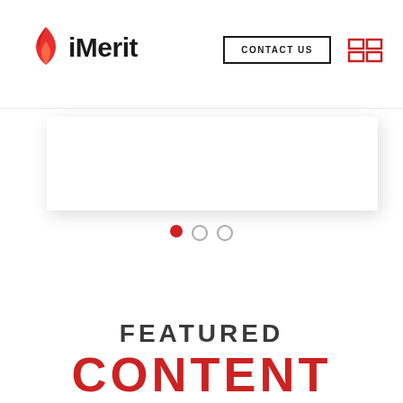iMerit — CONTACT US navigation header
[Figure (screenshot): iMerit website header with flame logo, iMerit wordmark, CONTACT US button, and red hamburger/grid menu icon]
[Figure (other): White card/slider element with drop shadow, partially visible]
[Figure (other): Carousel navigation dots: one filled red, two unfilled grey outlines]
FEATURED CONTENT